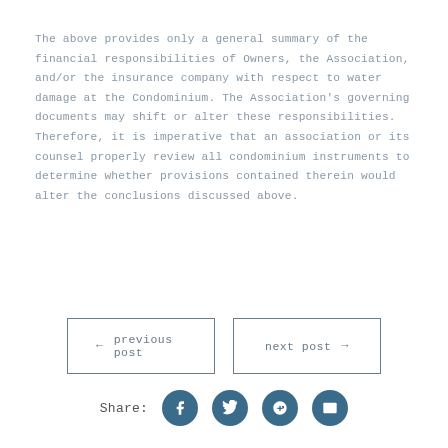The above provides only a general summary of the financial responsibilities of Owners, the Association, and/or the insurance company with respect to water damage at the Condominium. The Association's governing documents may shift or alter these responsibilities. Therefore, it is imperative that an association or its counsel properly review all condominium instruments to determine whether provisions contained therein would alter the conclusions discussed above.
← previous post
next post →
Share: